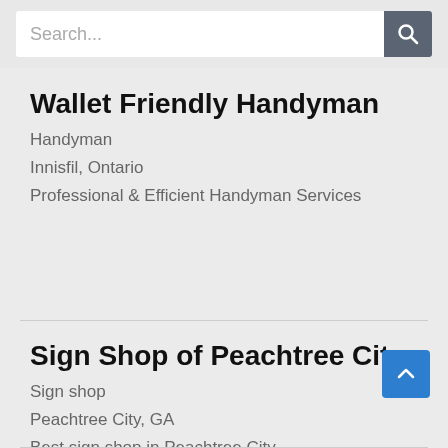[Figure (screenshot): Search bar with placeholder text 'Search...' and a dark grey search button with magnifying glass icon]
Wallet Friendly Handyman
Handyman
Innisfil, Ontario
Professional & Efficient Handyman Services
Sign Shop of Peachtree City
Sign shop
Peachtree City, GA
Best sign shop in Peachtree City